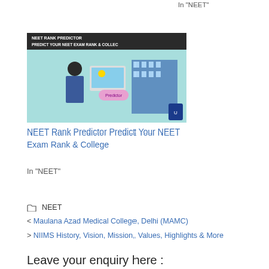In "NEET"
[Figure (screenshot): NEET Rank Predictor promotional image showing a person with a laptop and building, with text 'NEET RANK PREDICTOR - PREDICT YOUR NEET EXAM RANK & COLLEGE']
NEET Rank Predictor Predict Your NEET Exam Rank & College
In "NEET"
NEET
< Maulana Azad Medical College, Delhi (MAMC)
> NIIMS History, Vision, Mission, Values, Highlights & More
Leave your enquiry here :